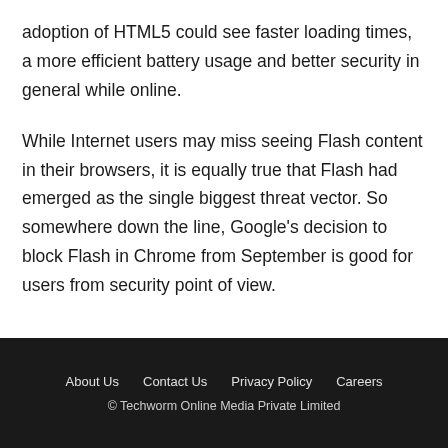adoption of HTML5 could see faster loading times, a more efficient battery usage and better security in general while online.
While Internet users may miss seeing Flash content in their browsers, it is equally true that Flash had emerged as the single biggest threat vector. So somewhere down the line, Google's decision to block Flash in Chrome from September is good for users from security point of view.
About Us  Contact Us  Privacy Policy  Careers
© Techworm Online Media Private Limited